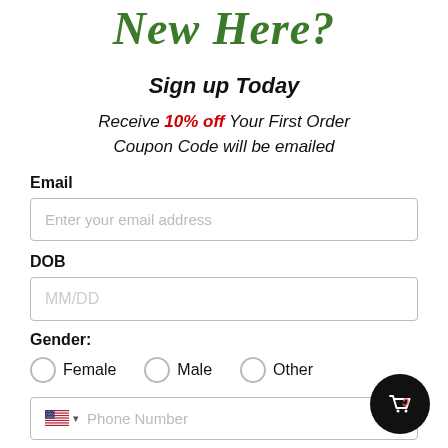New Here?
Sign up Today
Receive 10% off Your First Order Coupon Code will be emailed
Email
Enter your email address
DOB
MM/DD
Gender:
Female   Male   Other
Phone Number